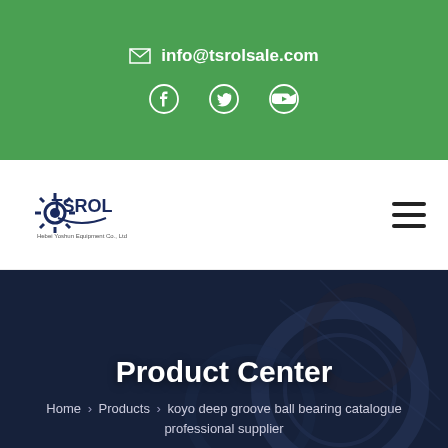info@tsrolsale.com
[Figure (logo): TSROL company logo with gear icon and text 'Hebei Yoshun Equipment Co. Ltd']
Product Center
Home > Products > koyo deep groove ball bearing catalogue professional supplier